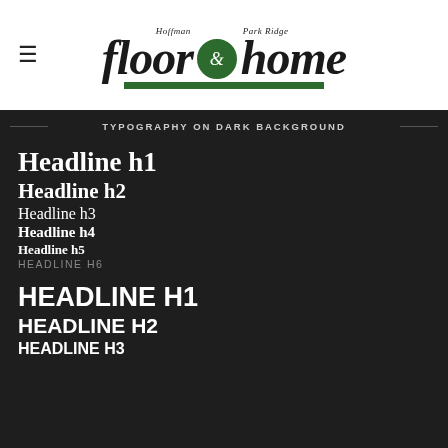[Figure (logo): Hoffman Park Ridge floor & home logo with green underline bar and hamburger menu icon]
TYPOGRAPHY ON DARK BACKGROUND
Headline h1
Headline h2
Headline h3
Headline h4
Headline h5
HEADLINE H6
HEADLINE H1
HEADLINE H2
HEADLINE H3